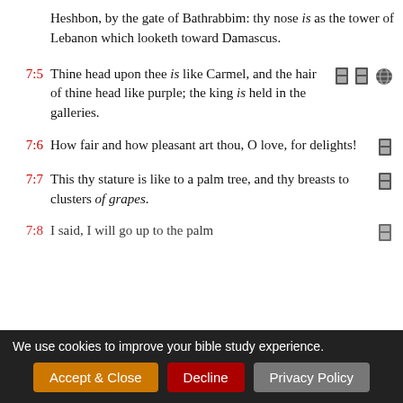Heshbon, by the gate of Bathrabbim: thy nose is as the tower of Lebanon which looketh toward Damascus.
7:5 Thine head upon thee is like Carmel, and the hair of thine head like purple; the king is held in the galleries.
7:6 How fair and how pleasant art thou, O love, for delights!
7:7 This thy stature is like to a palm tree, and thy breasts to clusters of grapes.
7:8 I said, I will go up to the palm
We use cookies to improve your bible study experience.